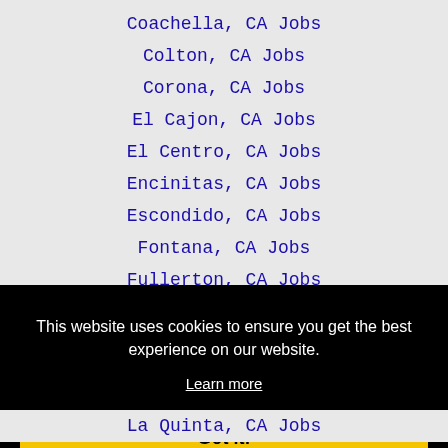Coachella, CA Jobs
Colton, CA Jobs
Corona, CA Jobs
El Cajon, CA Jobs
El Centro, CA Jobs
Encinitas, CA Jobs
Escondido, CA Jobs
Fontana, CA Jobs
Fullerton, CA Jobs
This website uses cookies to ensure you get the best experience on our website.
Learn more
Got it!
La Quinta, CA Jobs